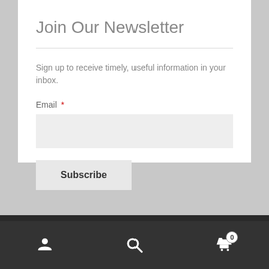Join Our Newsletter
Sign up to receive timely, useful information in your inbox.
Email *
Menu
[Figure (screenshot): Bottom navigation bar with user/account icon, search icon, and shopping cart icon with badge showing 0]